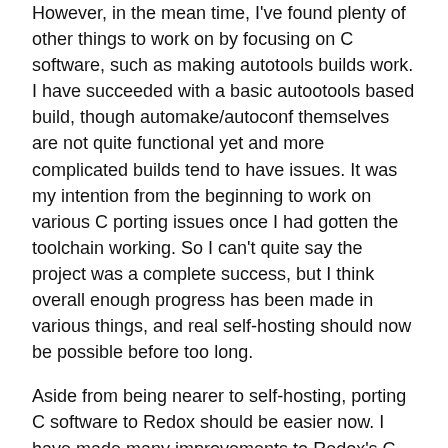However, in the mean time, I've found plenty of other things to work on by focusing on C software, such as making autotools builds work. I have succeeded with a basic autootools based build, though automake/autoconf themselves are not quite functional yet and more complicated builds tend to have issues. It was my intention from the beginning to work on various C porting issues once I had gotten the toolchain working. So I can't quite say the project was a complete success, but I think overall enough progress has been made in various things, and real self-hosting should now be possible before too long.
Aside from being nearer to self-hosting, porting C software to Redox should be easier now. I have made many improvements to Redox's C library, and addressed many POSIX incompatibilities. The amount of C software that runs on Redox has increased a fair amount.
What I Learned
A couple of the bugs I dealt with gave me an appreciation for printing integers in hex rather than decimal; things like byte order and address alignment become obvious. I've also come to realize that largely following POSIX is important for an OS;